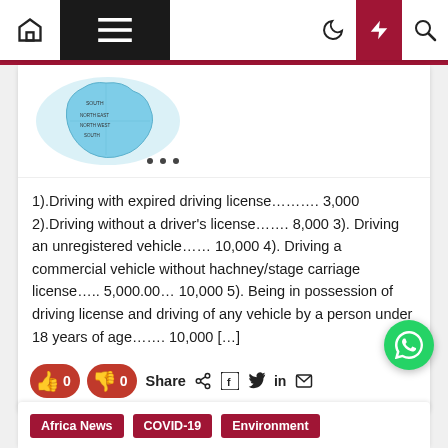Navigation bar with home, menu, moon, lightning, search icons
[Figure (map): Partial map of Africa/Nigeria region in light blue tones]
1).Driving with expired driving license………. 3,000 2).Driving without a driver's license……. 8,000 3). Driving an unregistered vehicle…… 10,000 4). Driving a commercial vehicle without hachney/stage carriage license….. 5,000.00… 10,000 5). Being in possession of driving license and driving of any vehicle by a person under 18 years of age……. 10,000 […]
Share 0 0 Share in
Africa News  COVID-19  Environment